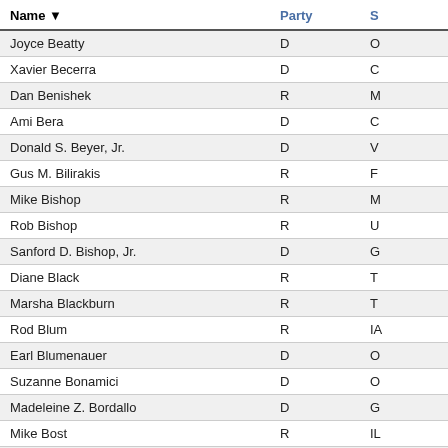| Name | Party | S |
| --- | --- | --- |
| Joyce Beatty | D | O |
| Xavier Becerra | D | C |
| Dan Benishek | R | M |
| Ami Bera | D | C |
| Donald S. Beyer, Jr. | D | V |
| Gus M. Bilirakis | R | F |
| Mike Bishop | R | M |
| Rob Bishop | R | U |
| Sanford D. Bishop, Jr. | D | G |
| Diane Black | R | T |
| Marsha Blackburn | R | T |
| Rod Blum | R | IA |
| Earl Blumenauer | D | O |
| Suzanne Bonamici | D | O |
| Madeleine Z. Bordallo | D | G |
| Mike Bost | R | IL |
| Charles W. Boustany Jr. | R | L |
| Brendan F. Boyle | D | P |
| Kevin Brady | R | T |
| Bob Brady | D | P |
| Dave Brat | R | V |
| Jim Bridenstine | R | O |